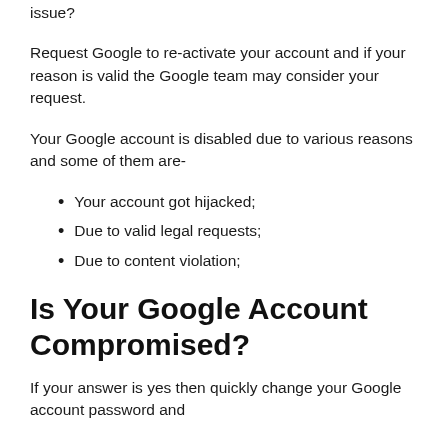issue?
Request Google to re-activate your account and if your reason is valid the Google team may consider your request.
Your Google account is disabled due to various reasons and some of them are-
Your account got hijacked;
Due to valid legal requests;
Due to content violation;
Is Your Google Account Compromised?
If your answer is yes then quickly change your Google account password and